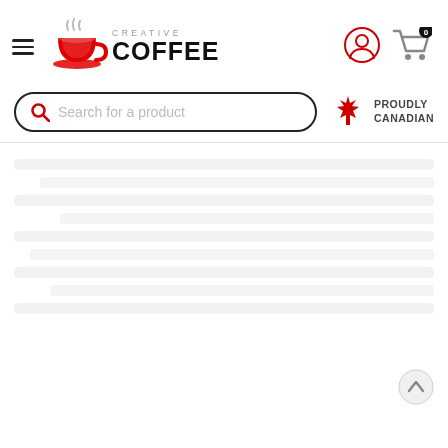[Figure (logo): Creative Coffee logo with red coffee cup SVG icon and text 'CREATIVE COFFEE' in grey/black]
[Figure (screenshot): User account icon (circle with person silhouette) in red/grey]
[Figure (screenshot): Shopping cart icon with badge showing '0']
Search for a product
[Figure (illustration): Canadian maple leaf icon in red]
PROUDLY CANADIAN
[Figure (screenshot): Scroll to top arrow button at bottom right]